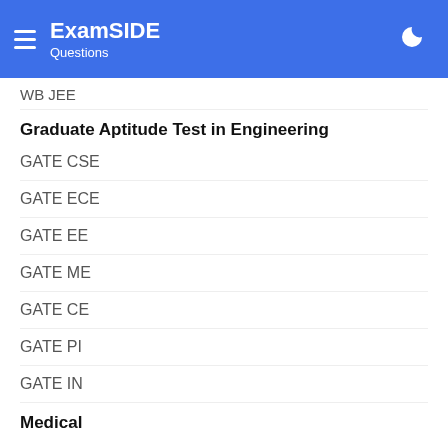ExamSIDE Questions
WB JEE
Graduate Aptitude Test in Engineering
GATE CSE
GATE ECE
GATE EE
GATE ME
GATE CE
GATE PI
GATE IN
Medical
NEET
CBSE